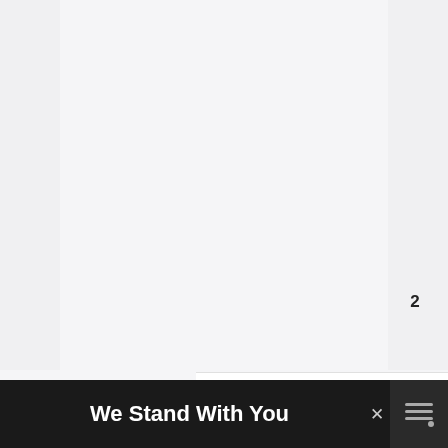[Figure (screenshot): Light gray main content area representing a webpage with left and right sidebars]
[Figure (infographic): Blue circular heart/like button with white heart icon]
2
[Figure (infographic): White circular share button with share icon and shadow]
WHAT'S NEXT → 5 Reasons Why My Dog...
[Figure (photo): Thumbnail image of a person with a dog for What's Next panel]
We Stand With You
[Figure (illustration): Ukrainian flag - blue and yellow horizontal bands]